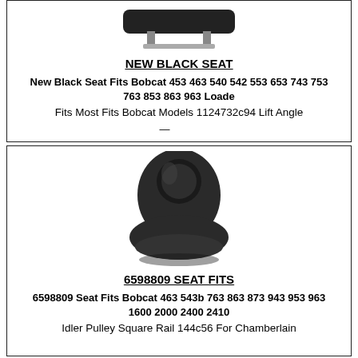[Figure (photo): Partial image of a black seat (top portion, cropped) with metal rails/brackets visible]
NEW BLACK SEAT
New Black Seat Fits Bobcat 453 463 540 542 553 653 743 753 763 853 863 963 Loade
Fits Most Fits Bobcat Models 1124732c94 Lift Angle
$250.99
[Figure (photo): Black vinyl bucket seat with lumbar support panel, shown from a front-side angle]
6598809 SEAT FITS
6598809 Seat Fits Bobcat 463 543b 763 863 873 943 953 963 1600 2000 2400 2410
Idler Pulley Square Rail 144c56 For Chamberlain
$151.99